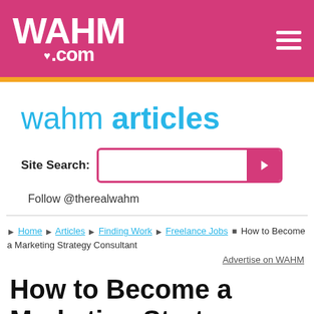WAHM.com
wahm articles
Site Search:
Follow @therealwahm
Home ▶ Articles ▶ Finding Work ▶ Freelance Jobs ■ How to Become a Marketing Strategy Consultant
Advertise on WAHM
How to Become a Marketing Strategy Consultant